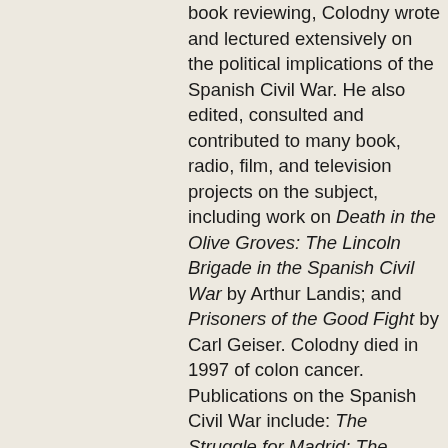book reviewing, Colodny wrote and lectured extensively on the political implications of the Spanish Civil War. He also edited, consulted and contributed to many book, radio, film, and television projects on the subject, including work on Death in the Olive Groves: The Lincoln Brigade in the Spanish Civil War by Arthur Landis; and Prisoners of the Good Fight by Carl Geiser. Colodny died in 1997 of colon cancer. Publications on the Spanish Civil War include: The Struggle for Madrid: The Central Epic of the Spanish Conflict, 1936-37 (New York: Paine-Whitman, 1958); Spain: The Glory and the Tragedy (New York: Humanities Press, 1970); Spain and Vietnam: The Fight for Freedom (New York : Veterans of the Abraham Lincoln Brigade, 1967) - Courtesy of Tamiment